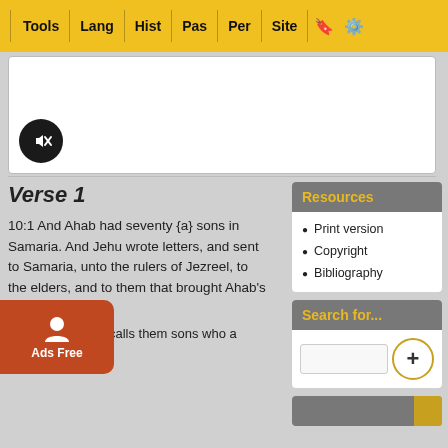Tools | Lang | Hist | Pas | Per | Site
[Figure (screenshot): Audio player card with mute button (black circle with speaker/mute icon)]
Verse 1
10:1 And Ahab had seventy {a} sons in Samaria. And Jehu wrote letters, and sent to Samaria, unto the rulers of Jezreel, to the elders, and to them that brought Ahab's [children], saying,
(a) The Scripture calls them sons who are grandsons and nephews
Resources
Print version
Copyright
Bibliography
Search for...